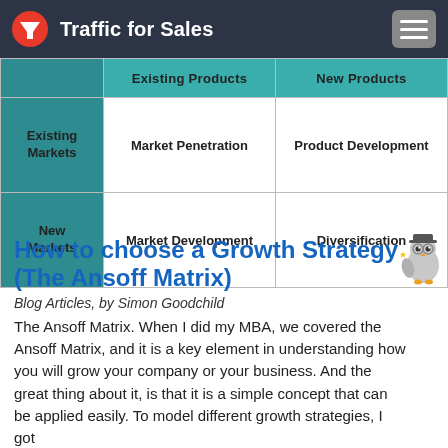Traffic for Sales
[Figure (table-as-image): Ansoff Matrix 2x2 grid showing Market Penetration (Existing Markets/Existing Products), Product Development (Existing Markets/New Products), Market Development (New Markets/Existing Products), Diversification (New Markets/New Products)]
How to choose a Growth Strategy (The Ansoff Matrix)
Blog Articles, by Simon Goodchild
The Ansoff Matrix. When I did my MBA, we covered the Ansoff Matrix, and it is a key element in understanding how you will grow your company or your business. And the great thing about it, is that it is a simple concept that can be applied easily. To model different growth strategies, I got